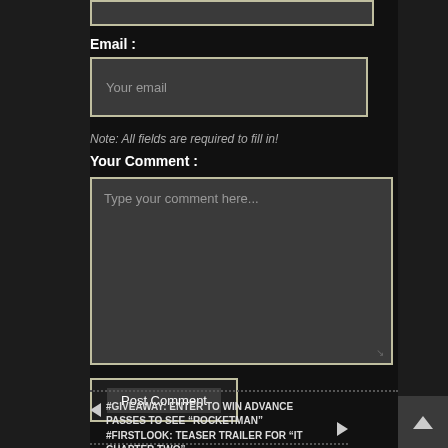[Figure (screenshot): Dark-themed web form. Top shows a partial text input field. Below is an Email label and text input with placeholder 'Your email'. A note reads 'Note: All fields are required to fill in!'. Below is a 'Your Comment :' label and a large textarea with placeholder 'Type your comment here...'. A 'Post Comment' button appears below the form. At the bottom is a navigation bar with previous/next article links.]
Email :
Your email
Note: All fields are required to fill in!
Your Comment :
Type your comment here...
Post Comment
#GIVEAWAY: ENTER TO WIN ADVANCE PASSES TO SEE “ROCKETMAN”
#FIRSTLOOK: TEASER TRAILER FOR “IT CHAPTER TWO”